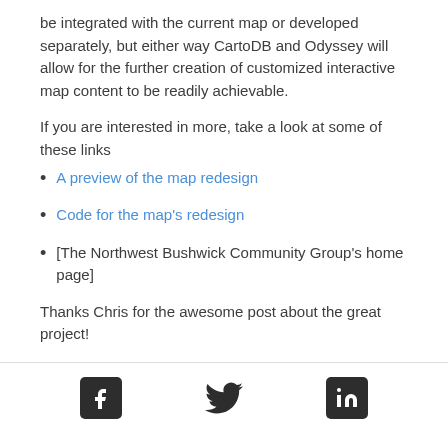be integrated with the current map or developed separately, but either way CartoDB and Odyssey will allow for the further creation of customized interactive map content to be readily achievable.
If you are interested in more, take a look at some of these links
A preview of the map redesign
Code for the map's redesign
[The Northwest Bushwick Community Group's home page]
Thanks Chris for the awesome post about the great project!
[Figure (other): Social media icons: Facebook, Twitter, LinkedIn]